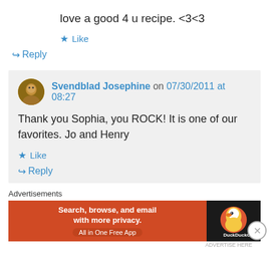love a good 4 u recipe. <3<3
★ Like
↪ Reply
Svendblad Josephine on 07/30/2011 at 08:27
Thank you Sophia, you ROCK! It is one of our favorites. Jo and Henry
★ Like
↪ Reply
Advertisements
[Figure (other): DuckDuckGo advertisement banner: 'Search, browse, and email with more privacy. All in One Free App' with DuckDuckGo duck logo on dark right panel]